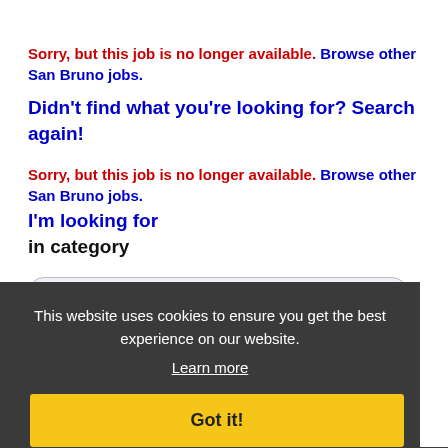Sorry, but this job is no longer available. Browse other San Bruno jobs.
Didn't find what you're looking for? Search again!
Sorry, but this job is no longer available. Browse other San Bruno jobs.
I'm looking for
in category
ALL
within
100 Miles of San Bruno
This website uses cookies to ensure you get the best experience on our website.
Learn more
Got it!